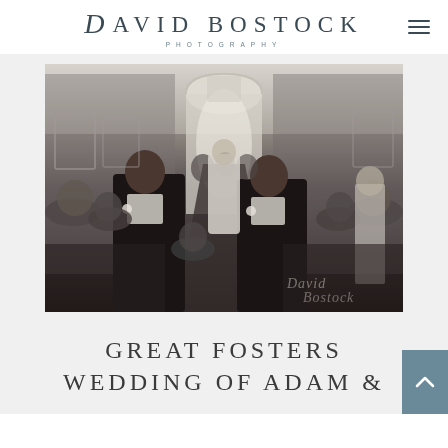DAVID BOSTOCK PHOTOGRAPHY
[Figure (photo): Black and white wedding photograph showing groomsmen and guests inside a church or formal venue, with an arched doorway visible in the background and a watermark reading 'David Bostock']
GREAT FOSTERS WEDDING OF ADAM &